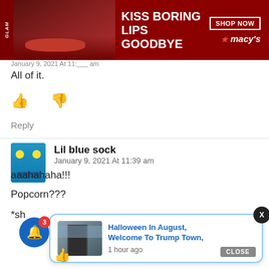[Figure (photo): Advertisement banner: dark red background with woman's face showing red lips, text 'KISS BORING LIPS GOODBYE', SHOP NOW button, Macy's star logo]
January 9, 2021 At 11:___ am
All of it.
[Figure (other): Thumbs up and thumbs down icons]
Reply
Lil blue sock
January 9, 2021 At 11:39 am
aaahahaha!!!
Popcorn???
*sh
[Figure (screenshot): Notification popup: thumbnail image of person in costume, text 'Halloween In August, Welcome To Trump Town,' and '1 hour ago', with X close button and CLOSE bar]
[Figure (other): Blue notification bell icon with red badge showing '3']